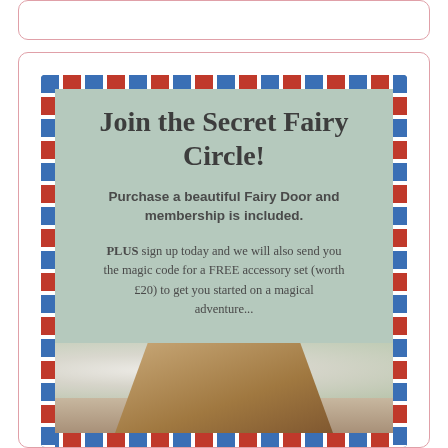[Figure (illustration): Top partial card with pink border, cut off at top of page]
Join the Secret Fairy Circle!
Purchase a beautiful Fairy Door and membership is included.
PLUS sign up today and we will also send you the magic code for a FREE accessory set (worth £20) to get you started on a magical adventure...
[Figure (photo): Partial photo of a wooden fairy door with white flowers, bottom of card]